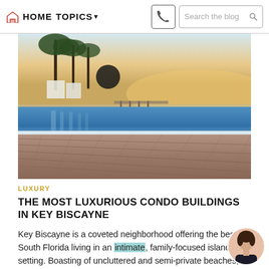HOME   TOPICS ▾         Search the blog
[Figure (photo): Luxury infinity pool with wooden deck, palm trees, and ocean horizon at sunset. Blue water reflects white modern architecture. Sky is warm golden and blue at dusk.]
LUXURY
THE MOST LUXURIOUS CONDO BUILDINGS IN KEY BISCAYNE
Key Biscayne is a coveted neighborhood offering the best of South Florida living in an intimate, family-focused island setting. Boasting of uncluttered and semi-private beaches, acres of